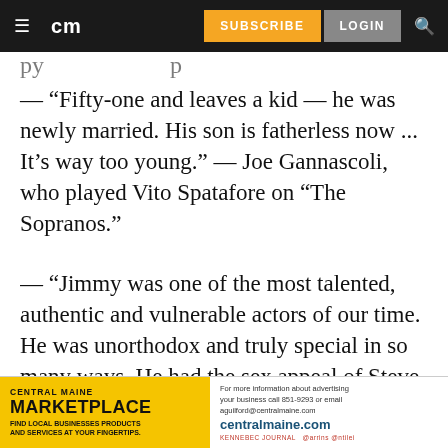cm | SUBSCRIBE | LOGIN
— “Fifty-one and leaves a kid — he was newly married. His son is fatherless now ... It’s way too young.” — Joe Gannascoli, who played Vito Spatafore on “The Sopranos.”
— “Jimmy was one of the most talented, authentic and vulnerable actors of our time. He was unorthodox and truly special in so many ways. He had the sex appeal of Steve McQueen or Brando in his prime as well as the
[Figure (other): Central Maine Marketplace advertisement banner: yellow section with text 'CENTRAL MAINE MARKETPLACE FIND LOCAL BUSINESSES PRODUCTS AND SERVICES AT YOUR FINGERTIPS.' and white section with 'For more information about advertising your business call 851-9293 or email aguilford@centralmaine.com centralmaine.com']